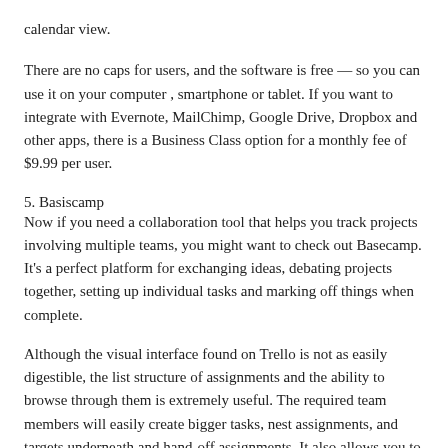calendar view.
There are no caps for users, and the software is free — so you can use it on your computer , smartphone or tablet. If you want to integrate with Evernote, MailChimp, Google Drive, Dropbox and other apps, there is a Business Class option for a monthly fee of $9.99 per user.
5. Basiscamp
Now if you need a collaboration tool that helps you track projects involving multiple teams, you might want to check out Basecamp. It's a perfect platform for exchanging ideas, debating projects together, setting up individual tasks and marking off things when complete.
Although the visual interface found on Trello is not as easily digestible, the list structure of assignments and the ability to browse through them is extremely useful. The required team members will easily create bigger tasks, nest assignments, and targets underneath and hand-off assignments. It also allows you to subscribe to unique cards that you aren't working on, just in case you want to keep track of the progress of other ventures.